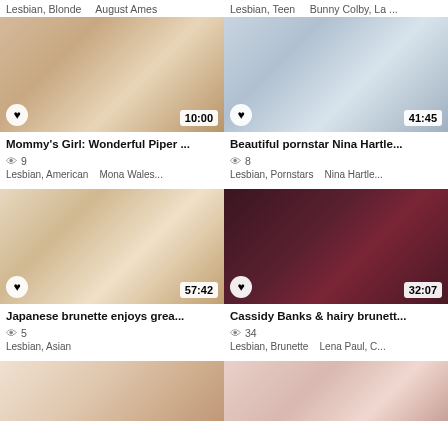Lesbian, Blonde    August Ames
Lesbian, Teen    Bunny Colby, La ...
[Figure (photo): Video thumbnail - two women]
[Figure (photo): Video thumbnail - two blonde women]
Mommy's Girl: Wonderful Piper ...
Beautiful pornstar Nina Hartle...
👁 9
👁 8
Lesbian, American    Mona Wales...
Lesbian, Pornstars    Nina Hartle...
[Figure (photo): Video thumbnail - Japanese brunette]
[Figure (photo): Video thumbnail - dark scene two women]
Japanese brunette enjoys grea...
Cassidy Banks & hairy brunett...
👁 5
👁 34
Lesbian, Asian
Lesbian, Brunette    Lena Paul, C...
[Figure (photo): Video thumbnail - partial, bottom row left]
[Figure (photo): Video thumbnail - partial, bottom row right]